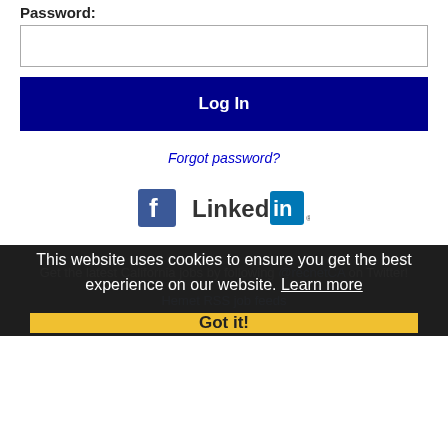Password:
Log In
Forgot password?
[Figure (logo): Facebook and LinkedIn social media icons side by side]
Get the latest California jobs by following @recnetCA on Twitter!
Hemet RSS job feeds
This website uses cookies to ensure you get the best experience on our website. Learn more
Got it!